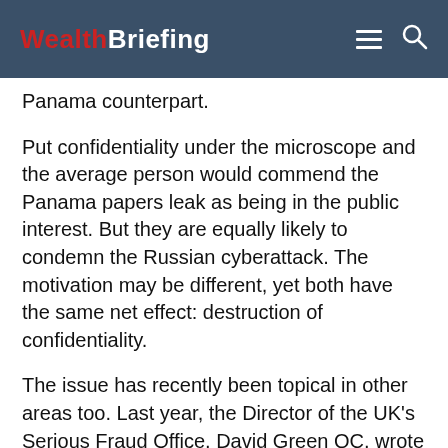WealthBriefing
Panama counterpart.
Put confidentiality under the microscope and the average person would commend the Panama papers leak as being in the public interest. But they are equally likely to condemn the Russian cyberattack. The motivation may be different, yet both have the same net effect: destruction of confidentiality.
The issue has recently been topical in other areas too. Last year, the Director of the UK's Serious Fraud Office, David Green QC, wrote an article suggesting that some companies impede their investigations by abusing the privilege of communications with their lawyers. A mind different